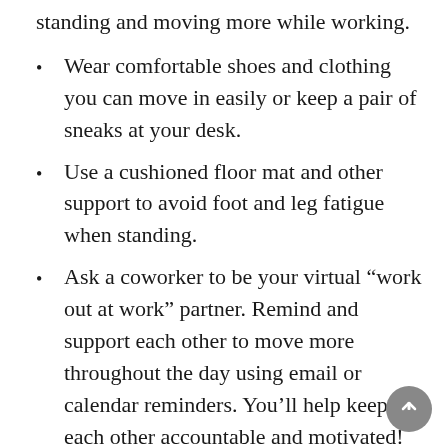standing and moving more while working.
Wear comfortable shoes and clothing you can move in easily or keep a pair of sneaks at your desk.
Use a cushioned floor mat and other support to avoid foot and leg fatigue when standing.
Ask a coworker to be your virtual “work out at work” partner. Remind and support each other to move more throughout the day using email or calendar reminders. You’ll help keep each other accountable and motivated!
Schedule physical activity time on your work calendar — and treat it like an appointment.